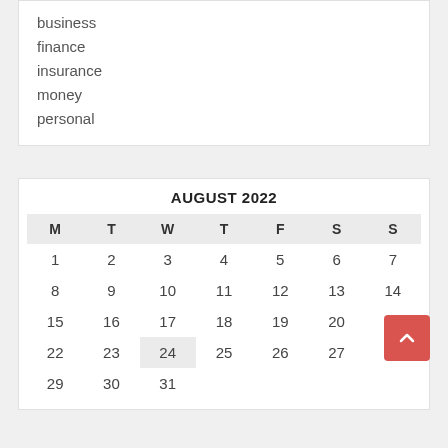business
finance
insurance
money
personal
| M | T | W | T | F | S | S |
| --- | --- | --- | --- | --- | --- | --- |
| 1 | 2 | 3 | 4 | 5 | 6 | 7 |
| 8 | 9 | 10 | 11 | 12 | 13 | 14 |
| 15 | 16 | 17 | 18 | 19 | 20 | 21 |
| 22 | 23 | 24 | 25 | 26 | 27 | 28 |
| 29 | 30 | 31 |  |  |  |  |